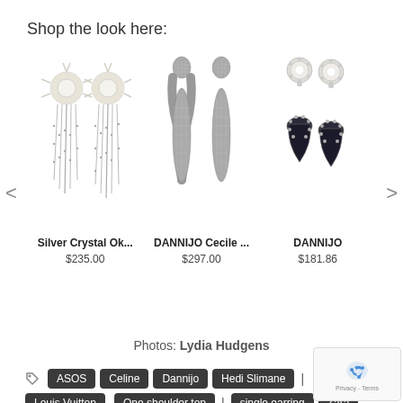Shop the look here:
[Figure (photo): Three pairs of drop earrings: Silver Crystal Ok... earrings with crystal and chain fringe, DANNIJO Cecile mesh drop earrings, and DANNIJO black teardrop earrings, with left/right navigation arrows]
Photos: Lydia Hudgens
ASOS
Celine
Dannijo
Hedi Slimane
Louis Vuitton
One shoulder top
single earring
Zara